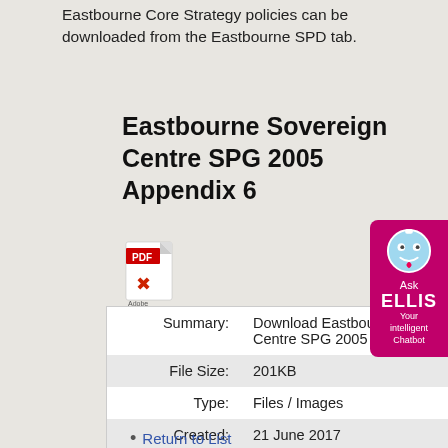Eastbourne Core Strategy policies can be downloaded from the Eastbourne SPD tab.
Eastbourne Sovereign Centre SPG 2005 Appendix 6
[Figure (other): PDF file icon with red PDF label and Adobe logo]
| Summary: | Download Eastbourne Sovereign Centre SPG 2005 Appendix 6 |
| File Size: | 201KB |
| Type: | Files / Images |
| Created: | 21 June 2017 |
| Last Modified: | 21 June 2017 |
Return to List